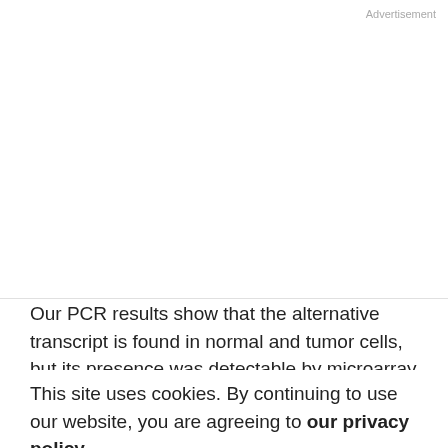Advertisement
Our PCR results show that the alternative transcript is found in normal and tumor cells, but its presence was detectable by microarray only in PC samples with substantial AMACR expression. The predicted AMACR protein product from this transcript differs from the AMACR known previously characterized in liver cells and fibroblasts. We are in the process of generating reagents that can selectively identify the novel AMACR to further
This site uses cookies. By continuing to use our website, you are agreeing to our privacy policy. Accept
AMACR have region of homology between FH and AMACR represents a single